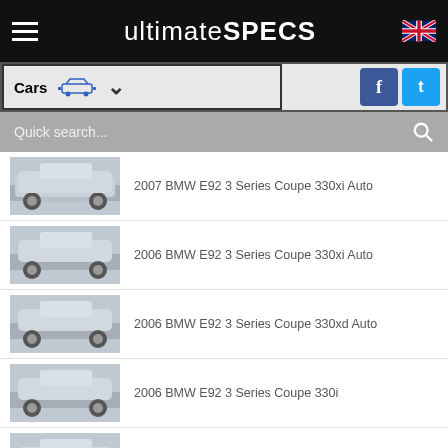ultimateSPECS
Cars
Quick search...
2007 BMW E92 3 Series Coupe 330xi Auto
2006 BMW E92 3 Series Coupe 330xi Auto
2006 BMW E92 3 Series Coupe 330xd Auto
2006 BMW E92 3 Series Coupe 330i
2007 BMW E92 3 Series Coupe 330i Auto
2007 BMW E92 3 Series Coupe 325xi 3.0